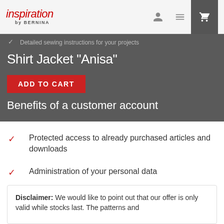inspiration by BERNINA
Detailed sewing instructions for your projects
Shirt Jacket "Anisa"
ADD TO CART
Benefits of a customer account
Protected access to already purchased articles and downloads
Administration of your personal data
Quicker and more convenient ordering
Disclaimer: We would like to point out that our offer is only valid while stocks last. The patterns and